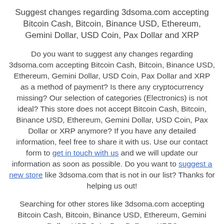Suggest changes regarding 3dsoma.com accepting Bitcoin Cash, Bitcoin, Binance USD, Ethereum, Gemini Dollar, USD Coin, Pax Dollar and XRP
Do you want to suggest any changes regarding 3dsoma.com accepting Bitcoin Cash, Bitcoin, Binance USD, Ethereum, Gemini Dollar, USD Coin, Pax Dollar and XRP as a method of payment? Is there any cryptocurrency missing? Our selection of categories (Electronics) is not ideal? This store does not accept Bitcoin Cash, Bitcoin, Binance USD, Ethereum, Gemini Dollar, USD Coin, Pax Dollar or XRP anymore? If you have any detailed information, feel free to share it with us. Use our contact form to get in touch with us and we will update our information as soon as possible. Do you want to suggest a new store like 3dsoma.com that is not in our list? Thanks for helping us out!
Searching for other stores like 3dsoma.com accepting Bitcoin Cash, Bitcoin, Binance USD, Ethereum, Gemini Dollar, USD Coin, Pax Dollar or XRP?